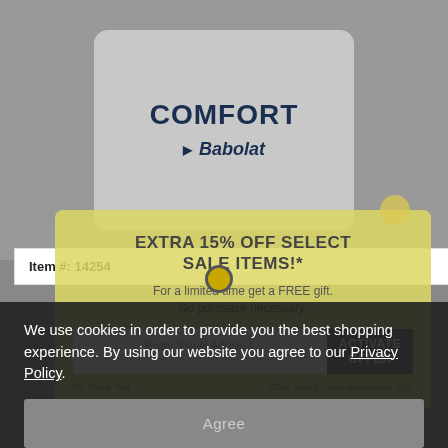[Figure (photo): Product image showing a Babolat tennis item with 'COMFORT' text on a gray rounded-rectangle card]
EXTRA 15% OFF SELECT SALE ITEMS!*
For a limited time get a FREE gift. No purchase necessary.
Item #: 14254
Enter Email Address
ACTIVATE OFFER
No Thank You
*Offer valid for new subscribers only.
We use cookies in order to provide you the best shopping experience. By using our website you agree to our Privacy Policy.
Agree